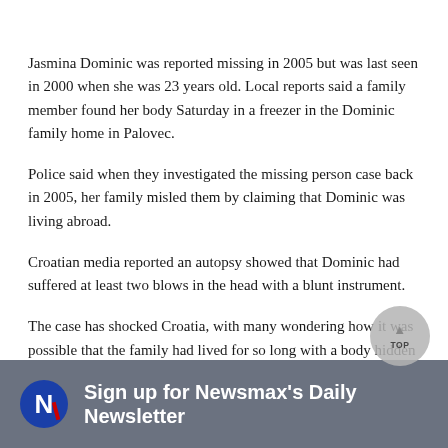Jasmina Dominic was reported missing in 2005 but was last seen in 2000 when she was 23 years old. Local reports said a family member found her body Saturday in a freezer in the Dominic family home in Palovec.
Police said when they investigated the missing person case back in 2005, her family misled them by claiming that Dominic was living abroad.
Croatian media reported an autopsy showed that Dominic had suffered at least two blows in the head with a blunt instrument.
The case has shocked Croatia, with many wondering how it was possible that the family had lived for so long with a body hidden in the house.
[Figure (logo): Newsmax logo circle with N letter and red stripe]
Sign up for Newsmax's Daily Newsletter